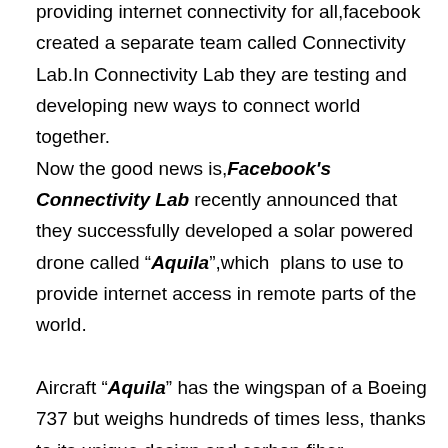providing internet connectivity for all,facebook created a separate team called Connectivity Lab.In Connectivity Lab they are testing and developing new ways to connect world together. Now the good news is,Facebook's Connectivity Lab recently announced that they successfully developed a solar powered drone called "Aquila",which  plans to use to provide internet access in remote parts of the world.

Aircraft "Aquila" has the wingspan of a Boeing 737 but weighs hundreds of times less, thanks to its unique design and carbon-fiber frame.When deployed, it will be able to circle a remote region for